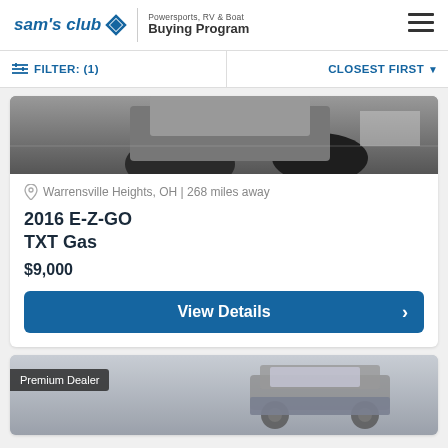sam's club | Powersports, RV & Boat Buying Program
FILTER: (1) | CLOSEST FIRST
[Figure (photo): Partial view of a vehicle (golf cart) with tires visible from above, dark background]
Warrensville Heights, OH | 268 miles away
2016 E-Z-GO TXT Gas
$9,000
View Details
[Figure (photo): Premium Dealer badge overlaid on partial view of a golf cart with canopy/roof rack, gray and blue tones]